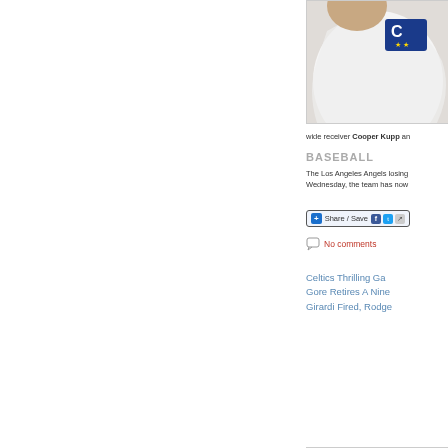[Figure (photo): Close-up photo of a sports jersey with a blue captain's patch with stars, worn by Cooper Kupp]
wide receiver Cooper Kupp an
BASEBALL
The Los Angeles Angels losing
Wednesday, the team has now
[Figure (other): Share / Save button bar with Facebook, Twitter, and more icons]
No comments
Celtics Thrilling Ga
Gore Retires A Nine
Girardi Fired, Rodge